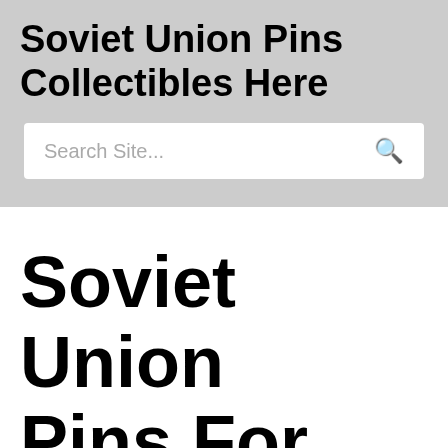Soviet Union Pins Collectibles Here
Search Site...
Soviet Union Pins For